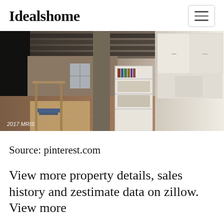Idealshome
[Figure (photo): Interior photo of a cluttered open-plan room/kitchen with exposed ceiling beams, brick floor, white kitchen cabinets, shelving unit with books, and various furniture. Watermark reads '2017 MRIS'.]
Source: pinterest.com
View more property details, sales history and zestimate data on zillow. View more